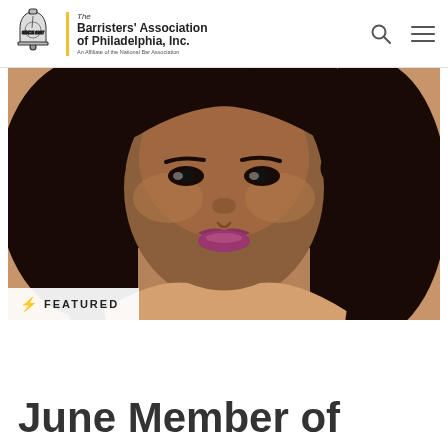The Barristers' Association of Philadelphia, Inc. An Affiliate of the National Bar Association
[Figure (photo): Portrait photo of a woman with long dark hair, wearing a necklace, with a 'FEATURED' badge overlay in the lower left corner]
June Member of